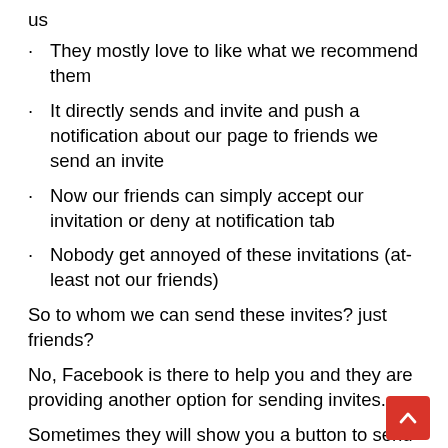us
They mostly love to like what we recommend them
It directly sends and invite and push a notification about our page to friends we send an invite
Now our friends can simply accept our invitation or deny at notification tab
Nobody get annoyed of these invitations (at-least not our friends)
So to whom we can send these invites? just friends?
No, Facebook is there to help you and they are providing another option for sending invites.
Sometimes they will show you a button to send Facebook page like invite to those who have liked your page posts but not following your page.
So in that way you will get free and trusted Facebook